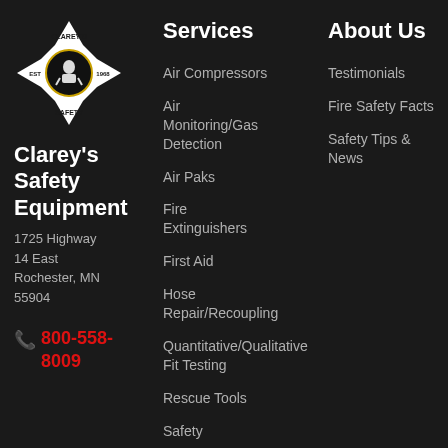[Figure (logo): Clarey's Safety Equipment badge/emblem logo — a Maltese cross shape with firefighter imagery, text 'CLAREY'S', 'EST', '1968', 'SAFETY']
Clarey's Safety Equipment
1725 Highway 14 East Rochester, MN 55904
800-558-8009
Services
Air Compressors
Air Monitoring/Gas Detection
Air Paks
Fire Extinguishers
First Aid
Hose Repair/Recoupling
Quantitative/Qualitative Fit Testing
Rescue Tools
Safety
About Us
Testimonials
Fire Safety Facts
Safety Tips & News